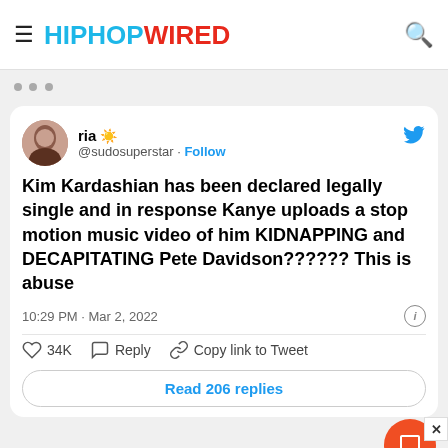HIPHOPWIRED
[Figure (screenshot): Embedded tweet from @sudosuperstar (ria) reading: 'Kim Kardashian has been declared legally single and in response Kanye uploads a stop motion music video of him KIDNAPPING and DECAPITATING Pete Davidson?????? This is abuse' — 10:29 PM · Mar 2, 2022 — 34K likes, Reply, Copy link to Tweet, Read 206 replies]